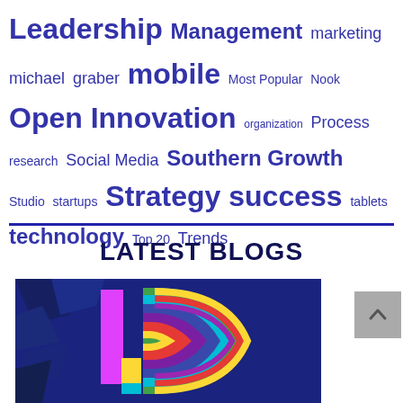Leadership Management marketing michael graber mobile Most Popular Nook Open Innovation organization Process research Social Media Southern Growth Studio startups Strategy success tablets technology Top 20 Trends
[Figure (illustration): Colorful stylized letter D logo on dark blue background with geometric shapes and rainbow arc]
LATEST BLOGS